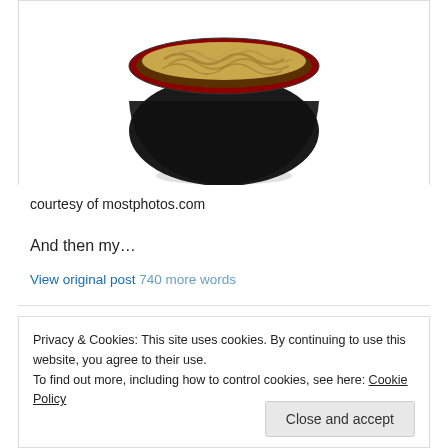[Figure (photo): A black bowl with red rim filled with ramen/instant noodles, photographed on white background]
courtesy of mostphotos.com
And then my…
View original post 740 more words
Privacy & Cookies: This site uses cookies. By continuing to use this website, you agree to their use.
To find out more, including how to control cookies, see here: Cookie Policy